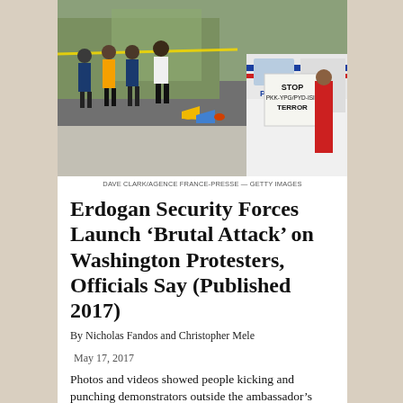[Figure (photo): Police officers and law enforcement vehicles on a street next to a sidewalk with megaphones and other items on the grass. A white protest sign reads 'STOP PKK-YPG/PYD-ISIS TERROR'. Yellow police tape visible in background.]
DAVE CLARK/AGENCE FRANCE-PRESSE &MDASH; GETTY IMAGES
Erdogan Security Forces Launch ‘Brutal Attack’ on Washington Protesters, Officials Say (Published 2017)
By Nicholas Fandos and Christopher Mele
May 17, 2017
Photos and videos showed people kicking and punching demonstrators outside the ambassador’s residence as the police tried to